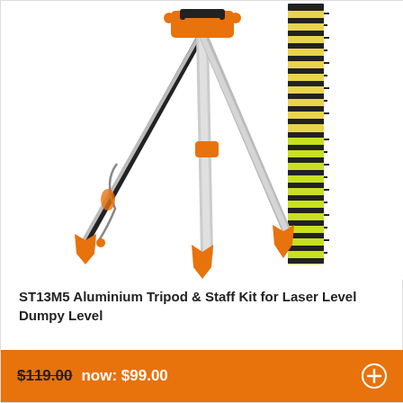[Figure (photo): Aluminium tripod with orange tips and a measuring staff/rod with yellow and black markings, shown against white background]
ST13M5 Aluminium Tripod & Staff Kit for Laser Level Dumpy Level
$119.00 now: $99.00